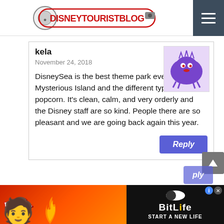DISNEYTOURISTBLOG
kela
November 24, 2018
DisneySea is the best theme park ever. Loved Mysterious Island and the different types of popcorn. It's clean, calm, and very orderly and the Disney staff are so kind. People there are so pleasant and we are going back again this year.
Reply
Jasmine
November 24, 2018
Such a lovely home…felt like I was on a mini-vaca
[Figure (infographic): BitLife advertisement banner with FAIL text and START A NEW LIFE tagline on red/fire background]